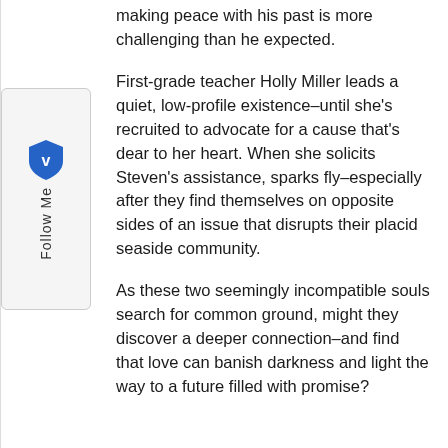making peace with his past is more challenging than he expected.
First-grade teacher Holly Miller leads a quiet, low-profile existence–until she's recruited to advocate for a cause that's dear to her heart. When she solicits Steven's assistance, sparks fly–especially after they find themselves on opposite sides of an issue that disrupts their placid seaside community.
As these two seemingly incompatible souls search for common ground, might they discover a deeper connection–and find that love can banish darkness and light the way to a future filled with promise?
[Figure (other): Follow Me social button with blue shield/badge icon and rotated 'Follow Me' text label on a light gray rounded rectangle sidebar widget]